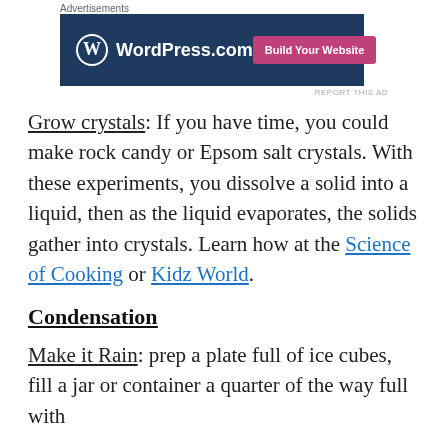[Figure (other): WordPress.com advertisement banner with dark blue background, WordPress logo on left, and 'Build Your Website' pink button on right]
Grow crystals: If you have time, you could make rock candy or Epsom salt crystals. With these experiments, you dissolve a solid into a liquid, then as the liquid evaporates, the solids gather into crystals. Learn how at the Science of Cooking or Kidz World.
Condensation
Make it Rain: prep a plate full of ice cubes, fill a jar or container a quarter of the way full with